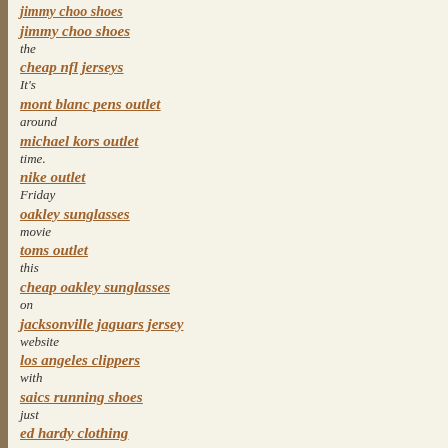jimmy choo shoes
the
cheap nfl jerseys
It's
mont blanc pens outlet
around
michael kors outlet
time.
nike outlet
Friday
oakley sunglasses
movie
toms outlet
this
cheap oakley sunglasses
on
jacksonville jaguars jersey
website
los angeles clippers
with
saics running shoes
just
ed hardy clothing